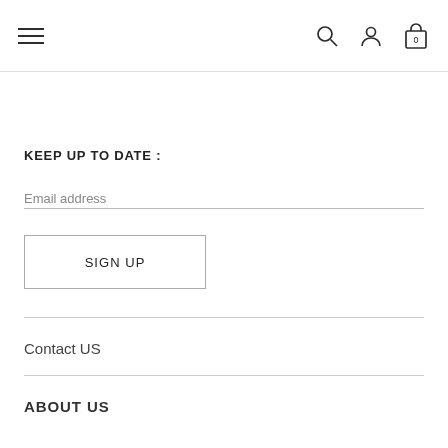≡ [hamburger menu] [search icon] [account icon] [cart icon with 0]
KEEP UP TO DATE :
Email address
SIGN UP
Contact US
ABOUT US